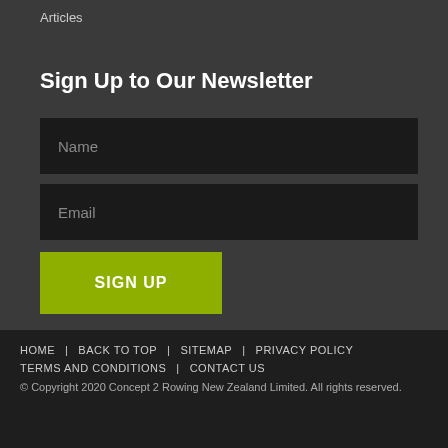Articles
Sign Up to Our Newsletter
[Figure (screenshot): Newsletter signup form with Name input field]
[Figure (screenshot): Newsletter signup form with Email input field]
[Figure (screenshot): SIGN UP button in yellow-green color]
HOME   BACK TO TOP   SITEMAP   PRIVACY POLICY   TERMS AND CONDITIONS   CONTACT US   © Copyright 2020 Concept 2 Rowing New Zealand Limited. All rights reserved.